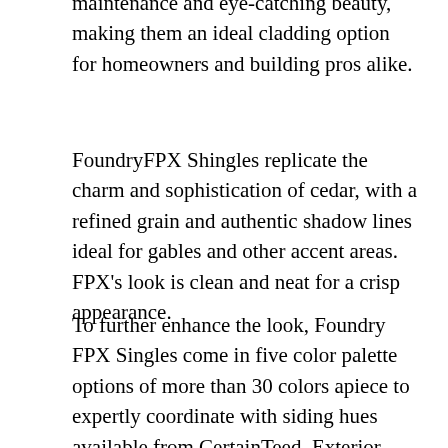maintenance and eye-catching beauty, making them an ideal cladding option for homeowners and building pros alike.
FoundryFPX Shingles replicate the charm and sophistication of cedar, with a refined grain and authentic shadow lines ideal for gables and other accent areas. FPX's look is clean and neat for a crisp appearance.
To further enhance the look, Foundry FPX Singles come in five color palette options of more than 30 colors apiece to expertly coordinate with siding hues available from CertainTeed, Exterior Portfolio, Mastic, Royal, and Variform*. (Visit https://foundrysiding.com/foundryfpx/ to download sell sheets and color charts for each brand.)
Like other Foundry products, FPX Shingles are straightforward to install by both contractors and experienced DIYers alike. Along with traditional